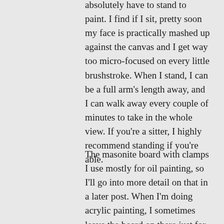absolutely have to stand to paint. I find if I sit, pretty soon my face is practically mashed up against the canvas and I get way too micro-focused on every little brushstroke. When I stand, I can be a full arm's length away, and I can walk away every couple of minutes to take in the whole view. If you're a sitter, I highly recommend standing if you're able.
The masonite board with clamps I use mostly for oil painting, so I'll go into more detail on that in a later post. When I'm doing acrylic painting, I sometimes leave the board on there just for a little bit of stability.
The weird black snake-thing on the right is a phone holder. I use it so I can see an